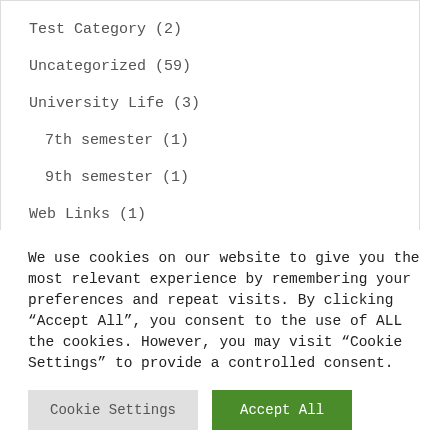Test Category (2)
Uncategorized (59)
University Life (3)
7th semester (1)
9th semester (1)
Web Links (1)
กกกกก (10)
กกกกกกก กกกกกกกกก กกกกกกกกกกก (1)
We use cookies on our website to give you the most relevant experience by remembering your preferences and repeat visits. By clicking "Accept All", you consent to the use of ALL the cookies. However, you may visit "Cookie Settings" to provide a controlled consent.
Cookie Settings | Accept All